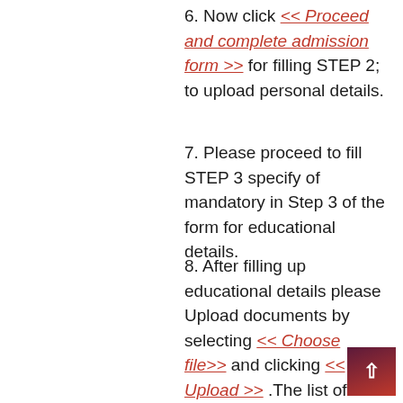6. Now click << Proceed and complete admission form >> for filling STEP 2; to upload personal details.
7. Please proceed to fill STEP 3 specify of mandatory in Step 3 of the form for educational details.
8. After filling up educational details please Upload documents by selecting << Choose file>> and clicking << Upload >> .The list of uploaded documents will be displayed at the last of the page.
9. Click on << Save and Next >> to upload your educational documents.
10. A message that your application has been submitted successfully will appear.
11. Again go to < Admission > tab on home page of college. Click on << Pay